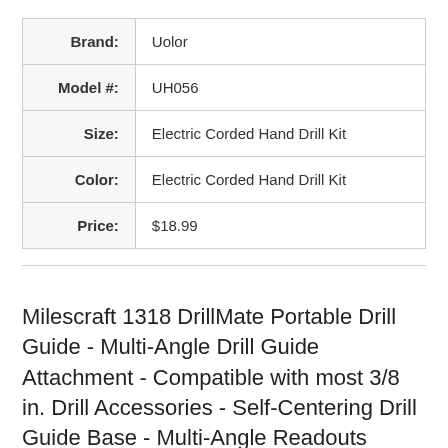| Brand: | Uolor |
| Model #: | UH056 |
| Size: | Electric Corded Hand Drill Kit |
| Color: | Electric Corded Hand Drill Kit |
| Price: | $18.99 |
Milescraft 1318 DrillMate Portable Drill Guide - Multi-Angle Drill Guide Attachment - Compatible with most 3/8 in. Drill Accessories - Self-Centering Drill Guide Base - Multi-Angle Readouts